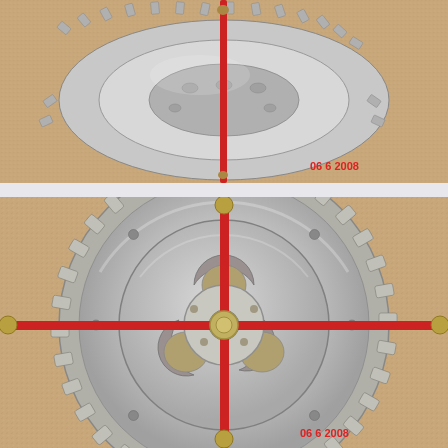[Figure (photo): Top-down angled view of a circular metal timing gear or sprocket wheel with evenly spaced teeth around its perimeter, sitting on a sandy/cork surface. A red-handled cross-shaped tool (puller or spanner) is positioned vertically through the center. A date stamp '06 2008' is visible in the lower right corner in red.]
[Figure (photo): Direct overhead view of the same circular metal timing gear or sprocket wheel with evenly spaced teeth around its perimeter and multiple circular cutouts in its inner ring, sitting on a sandy/cork surface. A red cross-shaped tool (4-armed puller/spanner) is centered on the gear with arms extending in four directions. A date stamp '06 2008' is visible in the lower right corner in red.]